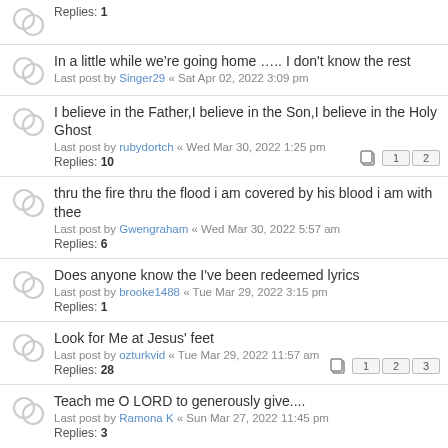Replies: 1
In a little while we’re going home ….. I don’t know the rest
Last post by Singer29 « Sat Apr 02, 2022 3:09 pm
I believe in the Father,I believe in the Son,I believe in the Holy Ghost
Last post by rubydortch « Wed Mar 30, 2022 1:25 pm
Replies: 10
thru the fire thru the flood i am covered by his blood i am with thee
Last post by Gwengraham « Wed Mar 30, 2022 5:57 am
Replies: 6
Does anyone know the I've been redeemed lyrics
Last post by brooke1488 « Tue Mar 29, 2022 3:15 pm
Replies: 1
Look for Me at Jesus' feet
Last post by ozturkvid « Tue Mar 29, 2022 11:57 am
Replies: 28
Teach me O LORD to generously give....
Last post by Ramona K « Sun Mar 27, 2022 11:45 pm
Replies: 3